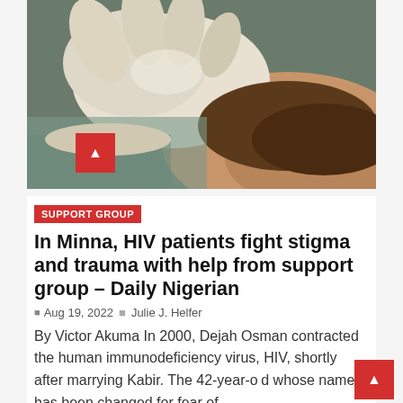[Figure (photo): Close-up photograph of a gloved hand (white latex glove) touching or examining a person's arm or skin, medical examination context.]
SUPPORT GROUP
In Minna, HIV patients fight stigma and trauma with help from support group – Daily Nigerian
Aug 19, 2022  Julie J. Helfer
By Victor Akuma In 2000, Dejah Osman contracted the human immunodeficiency virus, HIV, shortly after marrying Kabir. The 42-year-old whose name has been changed for fear of